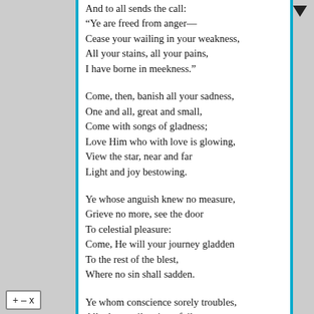And to all sends the call:
“Ye are freed from anger—
Cease your wailing in your weakness,
All your stains, all your pains,
I have borne in meekness.”
Come, then, banish all your sadness,
One and all, great and small,
Come with songs of gladness;
Love Him who with love is glowing,
View the star, near and far
Light and joy bestowing.
Ye whose anguish knew no measure,
Grieve no more, see the door
To celestial pleasure:
Come, He will your journey gladden
To the rest of the blest,
Where no sin shall sadden.
Ye whom conscience sorely troubles,
All whose toil, pain to foil,
But its wrath redoubles,
Hither come with all your bruises,
Here is One who to none
Healing balm refuses.